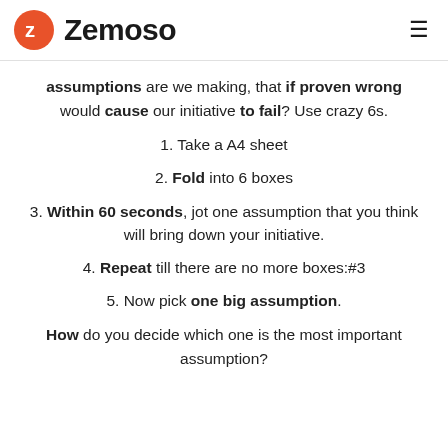Zemoso
assumptions are we making, that if proven wrong would cause our initiative to fail? Use crazy 6s.
1. Take a A4 sheet
2. Fold into 6 boxes
3. Within 60 seconds, jot one assumption that you think will bring down your initiative.
4. Repeat till there are no more boxes:#3
5. Now pick one big assumption.
How do you decide which one is the most important assumption?